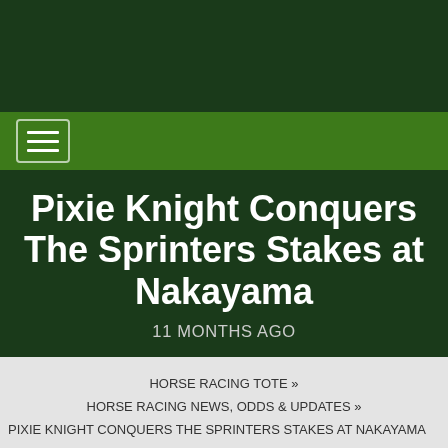[Figure (other): Dark green header banner area at top of page]
Pixie Knight Conquers The Sprinters Stakes at Nakayama
11 MONTHS AGO
HORSE RACING TOTE »
HORSE RACING NEWS, ODDS & UPDATES »
PIXIE KNIGHT CONQUERS THE SPRINTERS STAKES AT NAKAYAMA